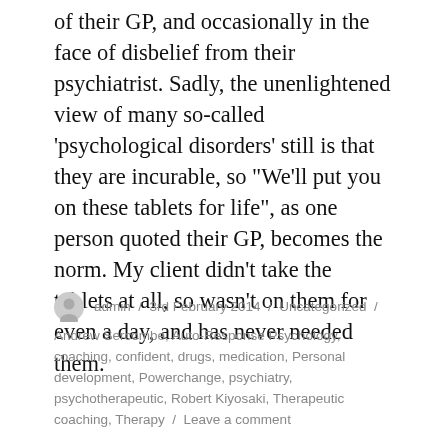of their GP, and occasionally in the face of disbelief from their psychiatrist. Sadly, the unenlightened view of many so-called ‘psychological disorders’ still is that they are incurable, so “We’ll put you on these tablets for life”, as one person quoted their GP, becomes the norm. My client didn’t take the tablets at all, so wasn’t on them for even a day, and has never needed them.
admin / 3rd February 2014 / Uncategorized / Andrew Sercombe, Auto-Response Psychology, coaching, confident, drugs, medication, Personal development, Powerchange, psychiatry, psychotherapeutic, Robert Kiyosaki, Therapeutic coaching, Therapy / Leave a comment